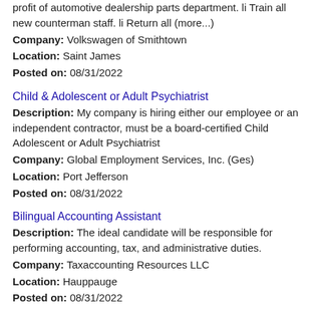profit of automotive dealership parts department. li Train all new counterman staff. li Return all (more...)
Company: Volkswagen of Smithtown
Location: Saint James
Posted on: 08/31/2022
Child & Adolescent or Adult Psychiatrist
Description: My company is hiring either our employee or an independent contractor, must be a board-certified Child Adolescent or Adult Psychiatrist
Company: Global Employment Services, Inc. (Ges)
Location: Port Jefferson
Posted on: 08/31/2022
Bilingual Accounting Assistant
Description: The ideal candidate will be responsible for performing accounting, tax, and administrative duties.
Company: Taxaccounting Resources LLC
Location: Hauppauge
Posted on: 08/31/2022
CNA (Certified Nursing Assistant)
Description: CNA Certified Nursing Assistant Duties Include: C.N.A.